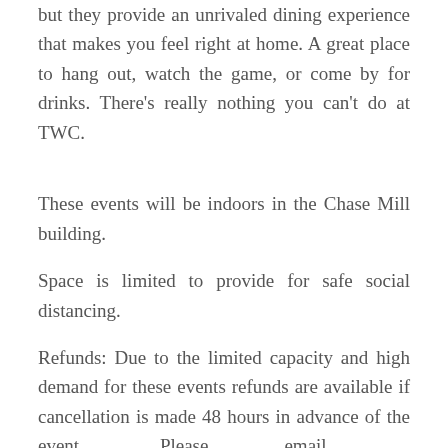they serve one-of-a-kind, twice-baked chicken wings, but they provide an unrivaled dining experience that makes you feel right at home. A great place to hang out, watch the game, or come by for drinks. There's really nothing you can't do at TWC.
These events will be indoors in the Chase Mill building.
Space is limited to provide for safe social distancing.
Refunds: Due to the limited capacity and high demand for these events refunds are available if cancellation is made 48 hours in advance of the event.                    Please                    email